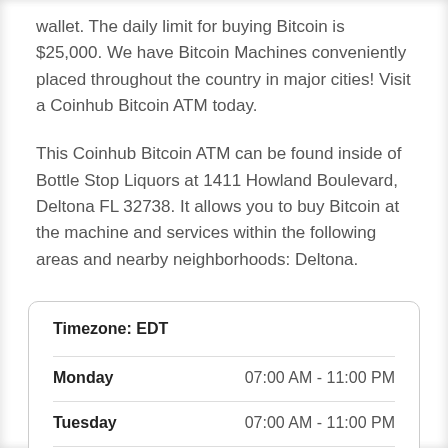wallet. The daily limit for buying Bitcoin is $25,000. We have Bitcoin Machines conveniently placed throughout the country in major cities! Visit a Coinhub Bitcoin ATM today.
This Coinhub Bitcoin ATM can be found inside of Bottle Stop Liquors at 1411 Howland Boulevard, Deltona FL 32738. It allows you to buy Bitcoin at the machine and services within the following areas and nearby neighborhoods: Deltona.
| Day | Hours |
| --- | --- |
| Timezone: EDT |  |
| Monday | 07:00 AM - 11:00 PM |
| Tuesday | 07:00 AM - 11:00 PM |
| Wednesday | 07:00 PM - 11:00 PM |